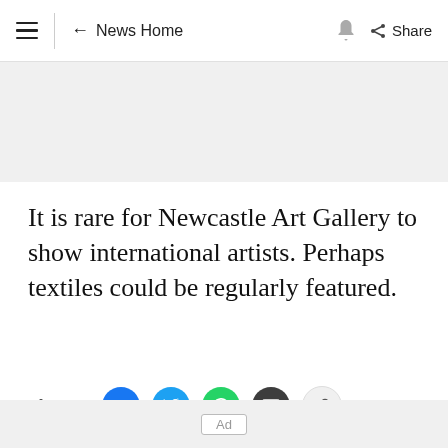≡  ← News Home  🔔  Share
[Figure (other): Gray advertisement placeholder banner]
It is rare for Newcastle Art Gallery to show international artists. Perhaps textiles could be regularly featured.
[Figure (other): Share row with Facebook, Twitter, WhatsApp, Email, and Link icons]
[Figure (other): Bottom ad placeholder bar with 'Ad' label]